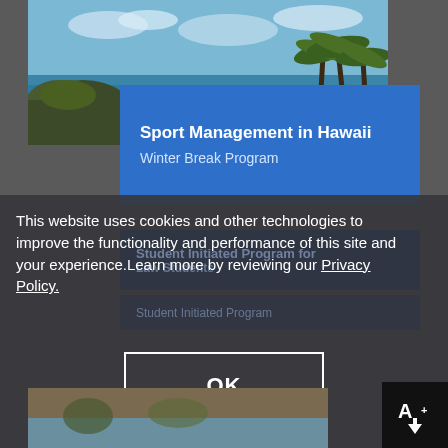[Figure (photo): Aerial coastal Hawaii scene with rocky cliffs, palm trees, and blue ocean water]
Sport Management in Hawaii
Winter Break Program
This website uses cookies and other technologies to improve the functionality and performance of this site and your experience.Learn more by reviewing our Privacy Policy.
Student Initiated Program for Law Students
Student Initiated Program
OK
[Figure (photo): Beach/coastal scene thumbnail at bottom of page]
[Figure (other): A+ with down arrow icon in black box]